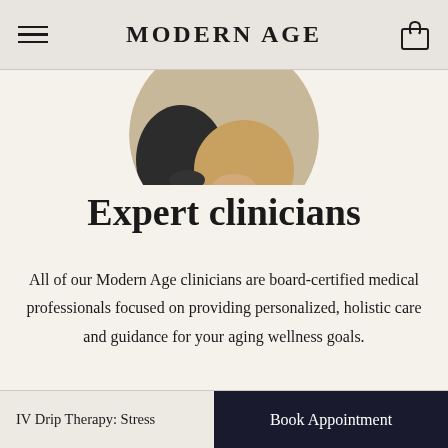MODERN AGE
[Figure (photo): Circular cropped photo showing two people sitting, one in dark clothing (left) and one in tan/beige clothing (right), with hands visible in a clinical/consultation setting.]
Expert clinicians
All of our Modern Age clinicians are board-certified medical professionals focused on providing personalized, holistic care and guidance for your aging wellness goals.
IV Drip Therapy: Stress   Book Appointment